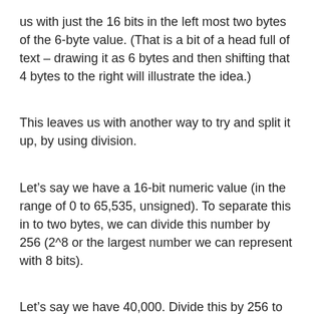us with just the 16 bits in the left most two bytes of the 6-byte value. (That is a bit of a head full of text – drawing it as 6 bytes and then shifting that 4 bytes to the right will illustrate the idea.)
This leaves us with another way to try and split it up, by using division.
Let’s say we have a 16-bit numeric value (in the range of 0 to 65,535, unsigned). To separate this in to two bytes, we can divide this number by 256 (2^8 or the largest number we can represent with 8 bits).
Let’s say we have 40,000. Divide this by 256 to give a value of 156.25. This tells us we have 156 (in base 10, but really it would be in binary) in the left byte and 64 in the right byte (64 is 0.25 times 256). By doing this, we’ve split the 2-byte value into separate individual one byte values.